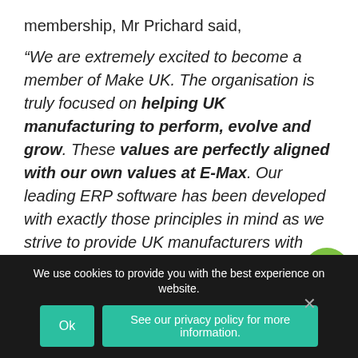membership, Mr Prichard said,
“We are extremely excited to become a member of Make UK. The organisation is truly focused on helping UK manufacturing to perform, evolve and grow. These values are perfectly aligned with our own values at E-Max. Our leading ERP software has been developed with exactly those principles in mind as we strive to provide UK manufacturers with solutions to help them become more efficient, streamlined and competitive.
We use cookies to provide you with the best experience on website.
Ok
See our privacy policy for more information.